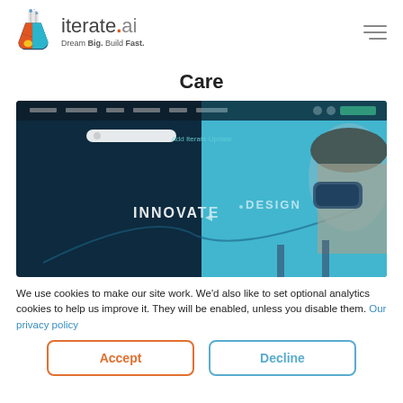[Figure (logo): iterate.ai logo with flask icon and tagline 'Dream Big. Build Fast.']
Care
[Figure (screenshot): Screenshot of iterate.ai website showing 'INNOVATE' and 'DESIGN' sections with a dark navy left panel and teal/blue right panel featuring a person wearing VR headset or microscope eyepiece]
We use cookies to make our site work. We'd also like to set optional analytics cookies to help us improve it. They will be enabled, unless you disable them. Our privacy policy
Accept
Decline